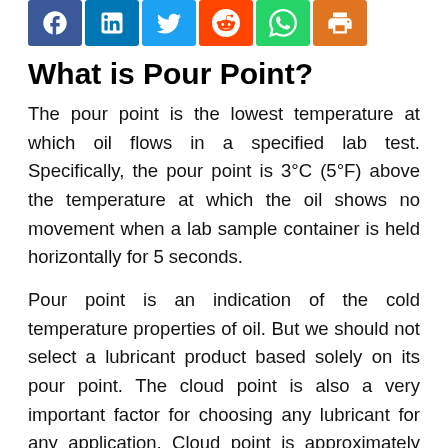[Figure (other): Social media sharing icons: Facebook (blue), LinkedIn (blue), Twitter (blue), Reddit (orange-red), WhatsApp (green), Print (orange)]
What is Pour Point?
The pour point is the lowest temperature at which oil flows in a specified lab test. Specifically, the pour point is 3°C (5°F) above the temperature at which the oil shows no movement when a lab sample container is held horizontally for 5 seconds.
Pour point is an indication of the cold temperature properties of oil. But we should not select a lubricant product based solely on its pour point. The cloud point is also a very important factor for choosing any lubricant for any application. Cloud point is approximately the low temperature at which the oil becomes cloudy due to the formation of wax crystals